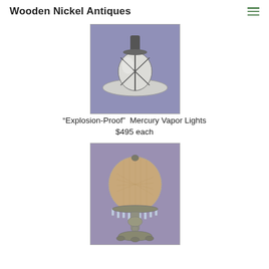Wooden Nickel Antiques
[Figure (photo): Antique explosion-proof mercury vapor ceiling light fixture with cage and wide reflector dish, photographed against purple background]
“Explosion-Proof” Mercury Vapor Lights
$495 each
[Figure (photo): Ornate antique table lamp with spherical mesh/beaded shade and crystal prism decorations on a pedestal base, photographed against purple/lavender background]